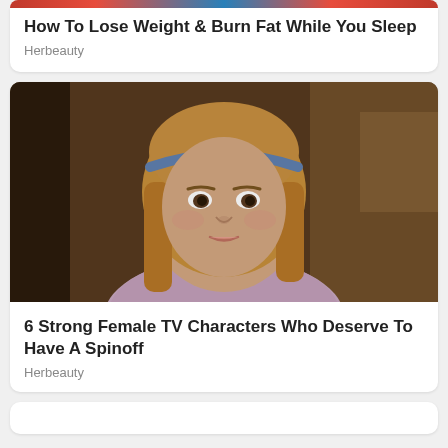How To Lose Weight & Burn Fat While You Sleep
Herbeauty
[Figure (photo): Close-up photo of a young girl with blonde hair and a blue headband, wearing a pink/lavender top with a white turtleneck collar, looking slightly upward in an indoor setting]
6 Strong Female TV Characters Who Deserve To Have A Spinoff
Herbeauty